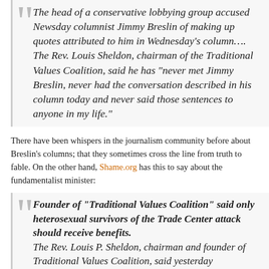The head of a conservative lobbying group accused Newsday columnist Jimmy Breslin of making up quotes attributed to him in Wednesday's column…. The Rev. Louis Sheldon, chairman of the Traditional Values Coalition, said he has “never met Jimmy Breslin, never had the conversation described in his column today and never said those sentences to anyone in my life.”
There have been whispers in the journalism community before about Breslin’s columns; that they sometimes cross the line from truth to fable. On the other hand, Shame.org has this to say about the fundamentalist minister:
Founder of “Traditional Values Coalition” said only heterosexual survivors of the Trade Center attack should receive benefits. The Rev. Louis P. Sheldon, chairman and founder of Traditional Values Coalition, said yesterday